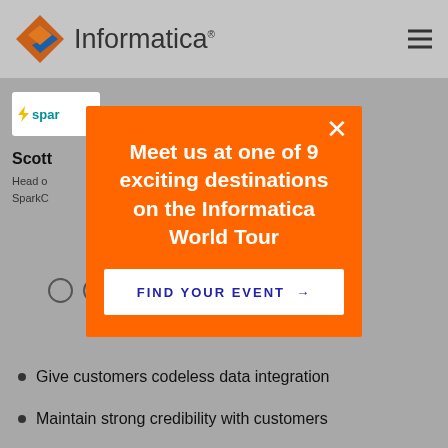Informatica
[Figure (logo): Informatica logo with orange/blue diamond shape and 'Informatica' wordmark]
spar (SparkCognition logo)
Scott
Head o
SparkC
[Figure (other): Three empty circles (carousel dots)]
Give customers codeless data integration
Maintain strong credibility with customers
[Figure (infographic): Orange modal popup: 'Meet us at one of 9 exciting destinations on the Informatica World Tour' with 'FIND YOUR EVENT →' button]